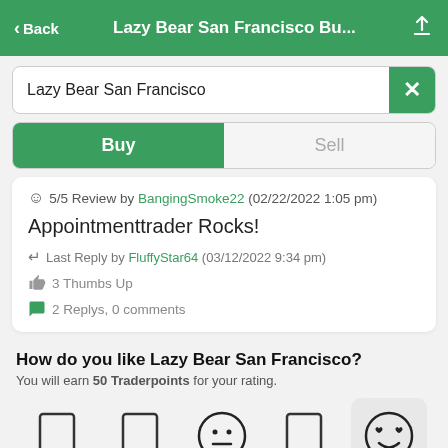< Back   Lazy Bear San Francisco Bu...   [share]
Lazy Bear San Francisco
Buy | Sell
☺ 5/5 Review by BangingSmoke22 (02/22/2022 1:05 pm)
Appointmenttrader Rocks!
↵ Last Reply by FluffyStar64 (03/12/2022 9:34 pm)
👍 3 Thumbs Up
💬 2 Replys, 0 comments
How do you like Lazy Bear San Francisco?
You will earn 50 Traderpoints for your rating.